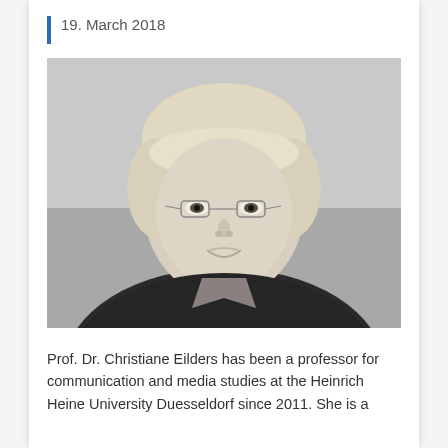19. March 2018
[Figure (photo): Black and white portrait photo of Prof. Dr. Christiane Eilders, a woman with short blonde hair wearing glasses, a dark jacket, and a necklace, smiling at the camera against a light grey background.]
Prof. Dr. Christiane Eilders has been a professor for communication and media studies at the Heinrich Heine University Duesseldorf since 2011. She is a